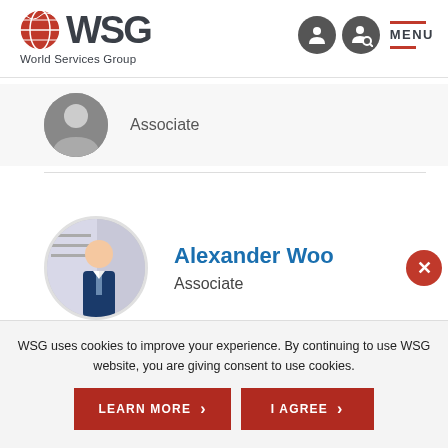WSG World Services Group
[Figure (screenshot): Partially visible person card showing a circular avatar and 'Associate' role label]
Alexander Woo
Associate
WSG uses cookies to improve your experience. By continuing to use WSG website, you are giving consent to use cookies.
LEARN MORE  ›   I AGREE  ›